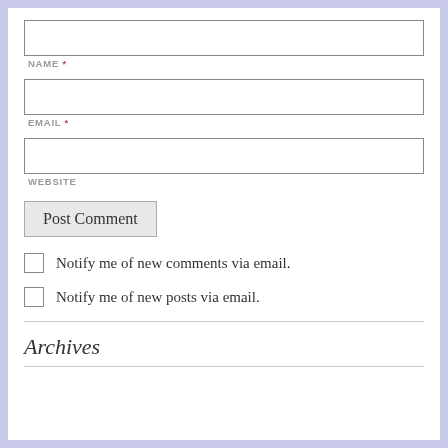NAME *
EMAIL *
WEBSITE
Post Comment
Notify me of new comments via email.
Notify me of new posts via email.
Archives